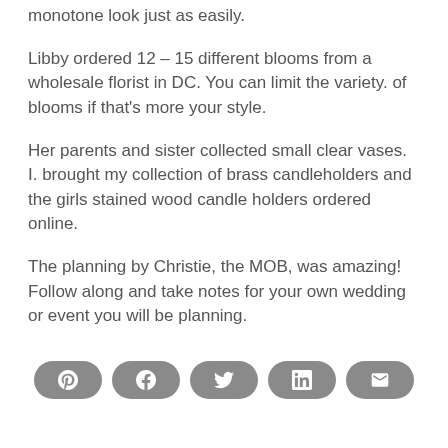monotone look just as easily.
Libby ordered 12 – 15 different blooms from a wholesale florist in DC. You can limit the variety. of blooms if that's more your style.
Her parents and sister collected small clear vases. I. brought my collection of brass candleholders and the girls stained wood candle holders ordered online.
The planning by Christie, the MOB, was amazing! Follow along and take notes for your own wedding or event you will be planning.
[Figure (other): Social sharing buttons: Pinterest, Facebook, Twitter, LinkedIn, Email]